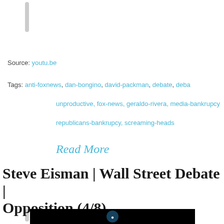Source: youtu.be
Tags: anti-foxnews, dan-bongino, david-packman, debate, deba... unproductive, fox-news, geraldo-rivera, media-bankrupcy, republicans-bankrupcy, screaming-heads
Read More
Steve Eisman | Wall Street Debate | Opposition (4/8)
[Figure (screenshot): Thumbnail of a video showing a logo/icon at the bottom of the page, dark background]